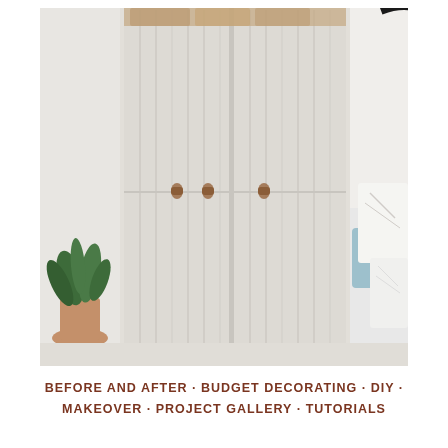[Figure (photo): Interior bedroom photo showing tall cream/beige wardrobe with vertical panel doors and small tan leather handles, a green plant in the bottom left corner, a round black-framed mirror on the right, and a bed with blue and white pillows visible on the right side. Light and airy Scandinavian style room.]
BEFORE AND AFTER · BUDGET DECORATING · DIY · MAKEOVER · PROJECT GALLERY · TUTORIALS